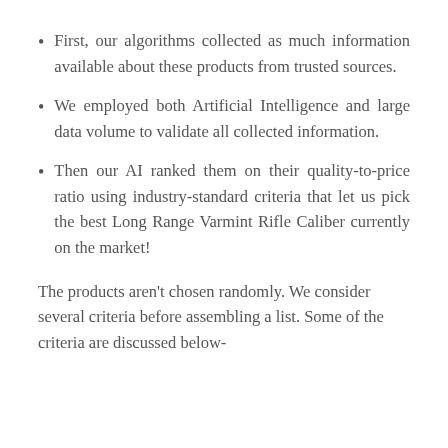First, our algorithms collected as much information available about these products from trusted sources.
We employed both Artificial Intelligence and large data volume to validate all collected information.
Then our AI ranked them on their quality-to-price ratio using industry-standard criteria that let us pick the best Long Range Varmint Rifle Caliber currently on the market!
The products aren’t chosen randomly. We consider several criteria before assembling a list. Some of the criteria are discussed below-